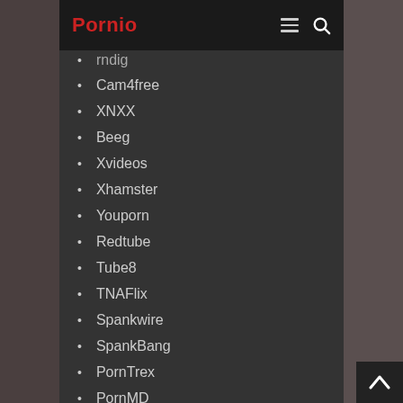Pornio
Porndig (partial)
Cam4free
XNXX
Beeg
Xvideos
Xhamster
Youporn
Redtube
Tube8
TNAFlix
Spankwire
SpankBang
PornTrex
PornMD
PornHD
Xtube
Tubegalore
NudeVista
Motherless
Keezmovies
Txxx